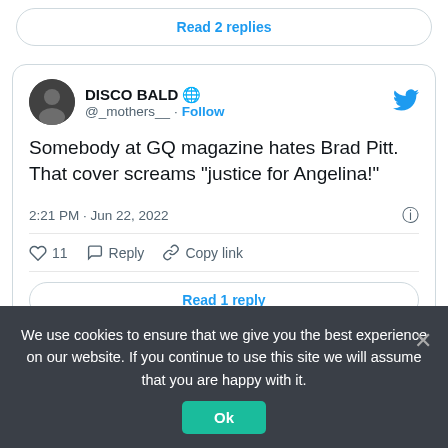Read 2 replies
[Figure (screenshot): Tweet card from user DISCO BALD (@_mothers__) with globe emoji, followed by Follow link and Twitter bird icon. Tweet text: Somebody at GQ magazine hates Brad Pitt. That cover screams "justice for Angelina!" Posted at 2:21 PM · Jun 22, 2022. 11 likes, Reply, Copy link actions. Read 1 reply button.]
We use cookies to ensure that we give you the best experience on our website. If you continue to use this site we will assume that you are happy with it.